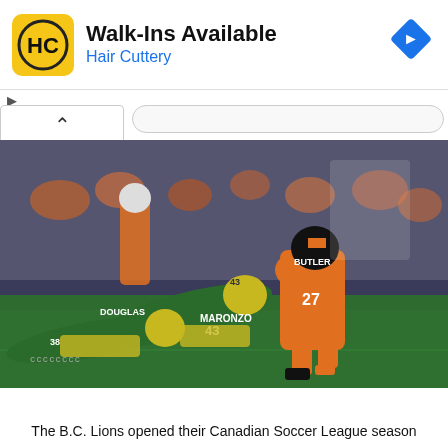[Figure (infographic): Hair Cuttery advertisement banner with yellow HC logo, text 'Walk-Ins Available' and 'Hair Cuttery', blue navigation diamond icon on right]
[Figure (photo): CFL football game action photo showing BC Lions player (orange uniform, #27 Butler) being tackled by Edmonton players (green/yellow uniforms, #43 Maronzo and #38 Douglas) on a green turf field with crowd in background]
The B.C. Lions opened their Canadian Soccer League season